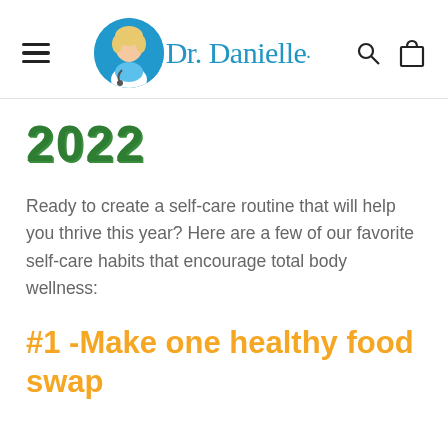Dr. Danielle — site header with navigation menu, logo, search and bag icons
2022
Ready to create a self-care routine that will help you thrive this year? Here are a few of our favorite self-care habits that encourage total body wellness:
#1 -Make one healthy food swap